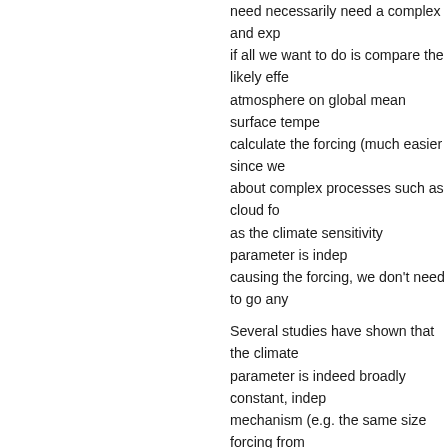need necessarily need a complex and exp... if all we want to do is compare the likely effe... atmosphere on global mean surface tempe... calculate the forcing (much easier since we... about complex processes such as cloud fo... as the climate sensitivity parameter is indep... causing the forcing, we don't need to go any...
Several studies have shown that the climate... parameter is indeed broadly constant, indep... mechanism (e.g. the same size forcing from... increase or a change in the solar constant w... same global mean surface temperature cha... al., 2003 Click here for a postscript (.ps)... However, there are indications that this is n... absorbing aerosol or some ozone changes.
Our results
We (Jolene Cook) have recently been able... the climate sensitivity parameter varies sub... that absorbs even a small amount of solar r... forcing cannot be used reliably to indicate e... global mean temperature change. The rea...